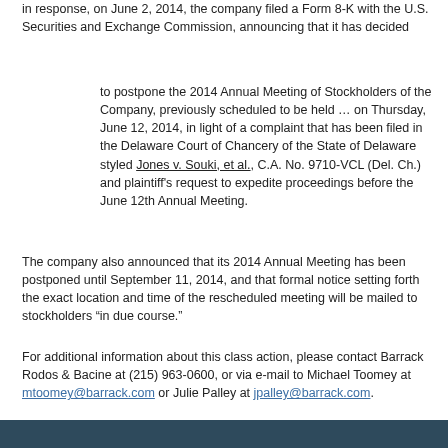in response, on June 2, 2014, the company filed a Form 8-K with the U.S. Securities and Exchange Commission, announcing that it has decided
to postpone the 2014 Annual Meeting of Stockholders of the Company, previously scheduled to be held … on Thursday, June 12, 2014, in light of a complaint that has been filed in the Delaware Court of Chancery of the State of Delaware styled Jones v. Souki, et al., C.A. No. 9710-VCL (Del. Ch.) and plaintiff's request to expedite proceedings before the June 12th Annual Meeting.
The company also announced that its 2014 Annual Meeting has been postponed until September 11, 2014, and that formal notice setting forth the exact location and time of the rescheduled meeting will be mailed to stockholders "in due course."
For additional information about this class action, please contact Barrack Rodos & Bacine at (215) 963-0600, or via e-mail to Michael Toomey at mtoomey@barrack.com or Julie Palley at jpalley@barrack.com.